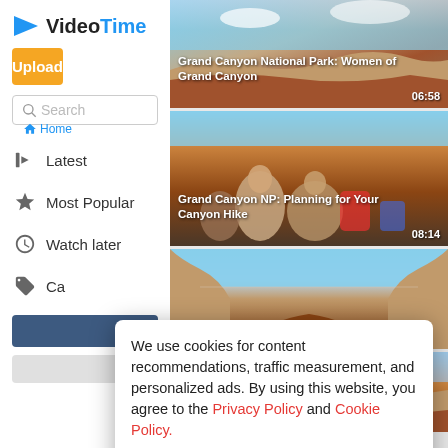[Figure (screenshot): VideoTime app logo with blue triangle icon and text 'Video' in black and 'Time' in blue]
Upload
Search
Home
Latest
Most Popular
Watch later
Ca...
[Figure (photo): Video thumbnail: Grand Canyon National Park landscape with sky and terrain. Duration 06:58]
Grand Canyon National Park: Women of Grand Canyon  06:58
[Figure (photo): Video thumbnail: Grand Canyon NP hikers scene. Duration 08:14]
Grand Canyon NP: Planning for Your Canyon Hike  08:14
[Figure (photo): Video thumbnail: Canyon landscape]
We use cookies for content recommendations, traffic measurement, and personalized ads. By using this website, you agree to the Privacy Policy and Cookie Policy.
Got it